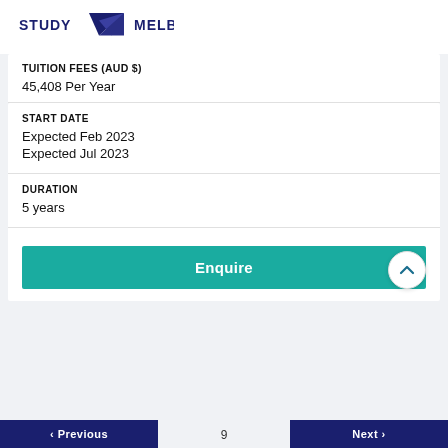[Figure (logo): Study Melbourne logo with dark blue triangle and text]
TUITION FEES (AUD $)
45,408 Per Year
START DATE
Expected Feb 2023
Expected Jul 2023
DURATION
5 years
Enquire
< Previous   9   Next >